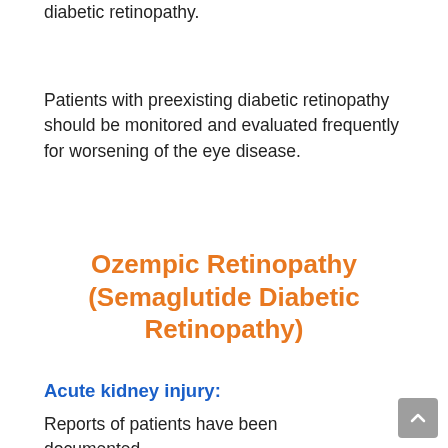diabetic retinopathy.
Patients with preexisting diabetic retinopathy should be monitored and evaluated frequently for worsening of the eye disease.
Ozempic Retinopathy (Semaglutide Diabetic Retinopathy)
Acute kidney injury:
Reports of patients have been documented